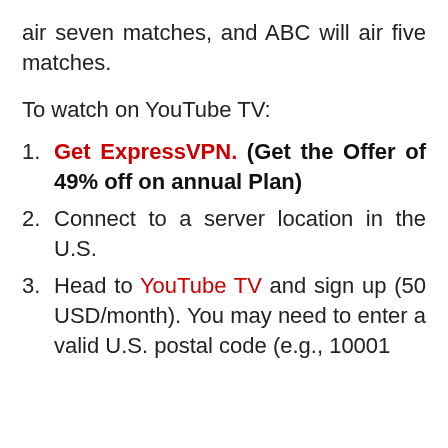air seven matches, and ABC will air five matches.
To watch on YouTube TV:
Get ExpressVPN. (Get the Offer of 49% off on annual Plan)
Connect to a server location in the U.S.
Head to YouTube TV and sign up (50 USD/month). You may need to enter a valid U.S. postal code (e.g., 10001